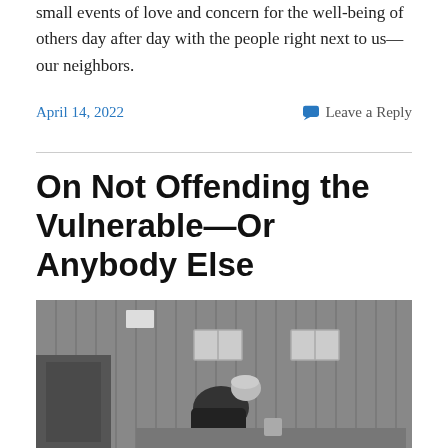small events of love and concern for the well-being of others day after day with the people right next to us—our neighbors.
April 14, 2022
Leave a Reply
On Not Offending the Vulnerable—Or Anybody Else
[Figure (photo): Black and white photograph of a man leaning over a table, writing or reading, inside a wood-paneled room with windows in the background.]